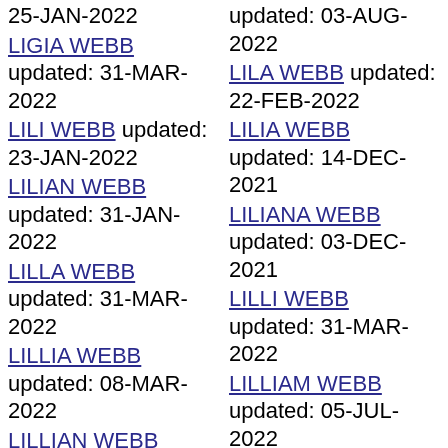25-JAN-2022 (partial top)
updated: 03-AUG-2022 (partial top)
LIGIA WEBB updated: 31-MAR-2022
LILA WEBB updated: 22-FEB-2022
LILI WEBB updated: 23-JAN-2022
LILIA WEBB updated: 14-DEC-2021
LILIAN WEBB updated: 31-JAN-2022
LILIANA WEBB updated: 03-DEC-2021
LILLA WEBB updated: 31-MAR-2022
LILLI WEBB updated: 31-MAR-2022
LILLIA WEBB updated: 08-MAR-2022
LILLIAM WEBB updated: 05-JUL-2022
LILLIAN WEBB updated: 20-DEC-2021
LILLIANA WEBB updated: 28-JUN-2022
LILLIE WEBB updated: 31-MAR-2022
LILLY WEBB updated: 26-JUN-2022
LILY WEBB updated: 18-MAY-2022
LIN WEBB updated: 04-MAY-2022
LINA WEBB updated: 31-JAN-2022
LINCOLN WEBB updated: 28-JAN-2022
LINDA WEBB updated: (partial bottom)
LINDSAY WEBB (partial bottom)